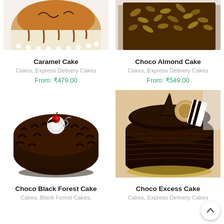[Figure (photo): Caramel Cake with caramel drizzle and white cream border, partially cropped at top]
[Figure (photo): Choco Almond Cake covered with chopped almonds on top, partially cropped at top]
Caramel Cake
Cakes, Express Delivery Cakes
From: ₹479.00
Choco Almond Cake
Cakes, Express Delivery Cakes
From: ₹549.00
[Figure (photo): Choco Black Forest Cake decorated with chocolate shavings and a cherry on top]
[Figure (photo): Choco Excess Cake with rich dark chocolate ganache and decorative chocolate pieces]
Choco Black Forest Cake
Cakes, Black Forest Cakes,
Choco Excess Cake
Cakes, Express Delivery Cakes